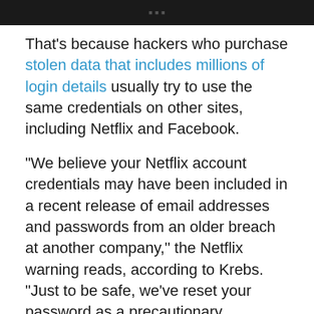[Figure (photo): Dark/black image bar at the top of the page, likely a cropped screenshot or photo header]
That’s because hackers who purchase stolen data that includes millions of login details usually try to use the same credentials on other sites, including Netflix and Facebook.
“We believe your Netflix account credentials may have been included in a recent release of email addresses and passwords from an older breach at another company,” the Netflix warning reads, according to Krebs. “Just to be safe, we’ve reset your password as a precautionary measure.” A similar message also appears on the Facebook page of a user whose